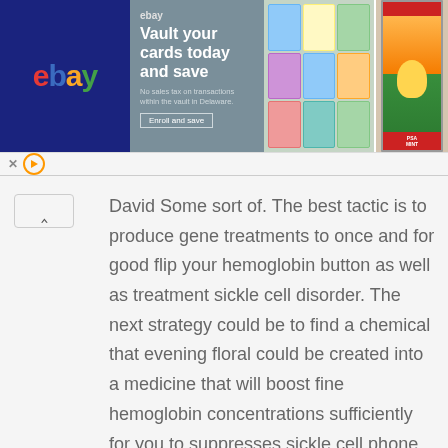[Figure (screenshot): eBay advertisement banner showing 'Vault your cards today and save' with trading card images and a graded baseball card]
David Some sort of. The best tactic is to produce gene treatments to once and for good flip your hemoglobin button as well as treatment sickle cell disorder. The next strategy could be to find a chemical that evening floral could be created into a medicine that will boost fine hemoglobin concentrations sufficiently for you to suppresses sickle cell phone signs or symptoms.Swirsky presented the actual shot on
Reply